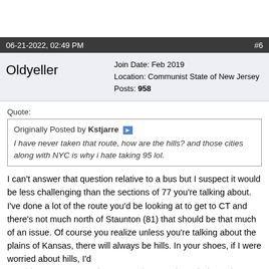06-21-2022, 02:49 PM   #6
Oldyeller
Join Date: Feb 2019
Location: Communist State of New Jersey
Posts: 958
Quote:
Originally Posted by Kstjarre
I have never taken that route, how are the hills? and those cities along with NYC is why i hate taking 95 lol.
I can't answer that question relative to a bus but I suspect it would be less challenging than the sections of 77 you're talking about. I've done a lot of the route you'd be looking at to get to CT and there's not much north of Staunton (81) that should be that much of an issue. Of course you realize unless you're talking about the plains of Kansas, there will always be hills. In your shoes, if I were worried about hills, I'd consider 81 to 78 east then 33 north to 80, through the Delaware Water Gap to 287 north, then 87, the New York thruway. Not sure where you're going in CT but the route I mentioned would skip a lot